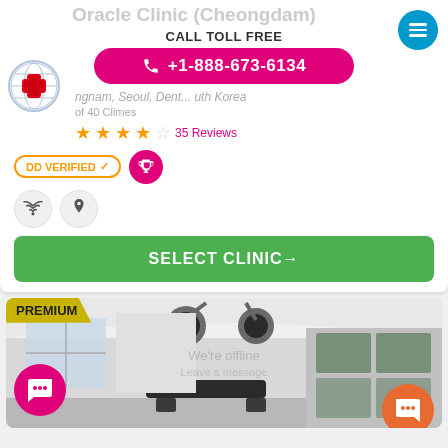Oracle Clinic (Cheongdam)
CALL TOLL FREE
+1-888-673-6134
Gangnam, Seoul, Dentistry, South Korea
2 of 40 Clinics
35 Reviews
DD VERIFIED ✓
SELECT CLINIC→
PREMIUM
[Figure (photo): Medical clinic interior with surgical lights and an examination table]
We're offline
Leave a message